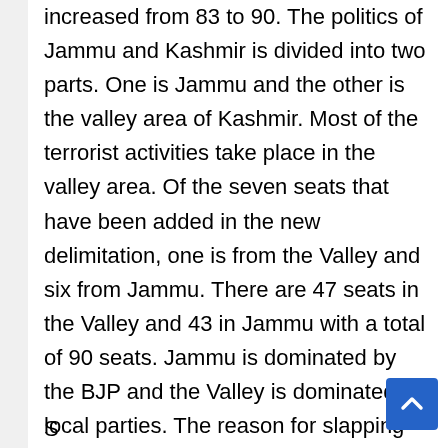increased from 83 to 90. The politics of Jammu and Kashmir is divided into two parts. One is Jammu and the other is the valley area of Kashmir. Most of the terrorist activities take place in the valley area. Of the seven seats that have been added in the new delimitation, one is from the Valley and six from Jammu. There are 47 seats in the Valley and 43 in Jammu with a total of 90 seats. Jammu is dominated by the BJP and the Valley is dominated by local parties. The reason for slapping the terrorists is also because the local parties are watching votes from this area. Terrorists expelled Pandits and Hindus from Kashmir. If a floating seat is made then you will feel that the pundits have got their due!